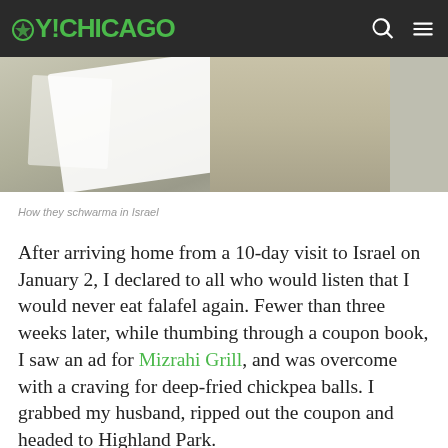OY!CHICAGO
[Figure (photo): Partial view of schwarma being prepared in Israel, showing white wrapping/paper and stone background]
How they schwarma in Israel
After arriving home from a 10-day visit to Israel on January 2, I declared to all who would listen that I would never eat falafel again. Fewer than three weeks later, while thumbing through a coupon book, I saw an ad for Mizrahi Grill, and was overcome with a craving for deep-fried chickpea balls. I grabbed my husband, ripped out the coupon and headed to Highland Park.